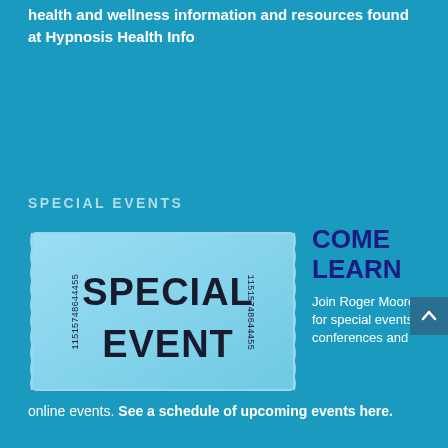health and wellness information and resources found at Hypnosis Health Info
SPECIAL EVENTS
[Figure (illustration): A blue event ticket with the text 'SPECIAL EVENT' in large bold letters and the barcode number 11515748644455 on both sides.]
COME LEARN
Join Roger Moore for special events, conferences and online events. See a schedule of upcoming events here.